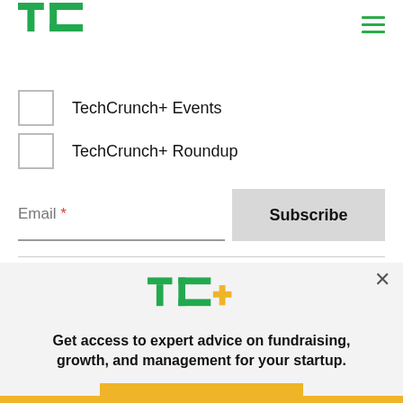[Figure (logo): TechCrunch logo - green TC letters]
TechCrunch+ Events
TechCrunch+ Roundup
Email *
Subscribe
[Figure (logo): TC+ logo in green with yellow plus sign]
Get access to expert advice on fundraising, growth, and management for your startup.
EXPLORE NOW